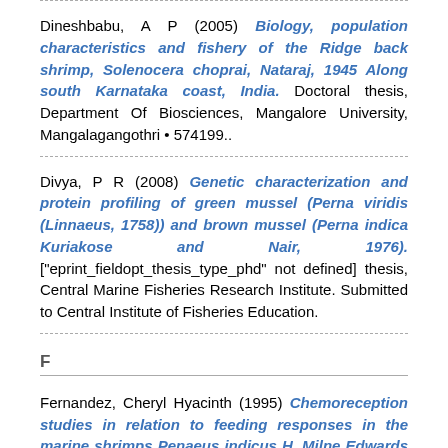Dineshbabu, A P (2005) Biology, population characteristics and fishery of the Ridge back shrimp, Solenocera choprai, Nataraj, 1945 Along south Karnataka coast, India. Doctoral thesis, Department Of Biosciences, Mangalore University, Mangalagangothri • 574199..
Divya, P R (2008) Genetic characterization and protein profiling of green mussel (Perna viridis (Linnaeus, 1758)) and brown mussel (Perna indica Kuriakose and Nair, 1976). ["eprint_fieldopt_thesis_type_phd" not defined] thesis, Central Marine Fisheries Research Institute. Submitted to Central Institute of Fisheries Education.
F
Fernandez, Cheryl Hyacinth (1995) Chemoreception studies in relation to feeding responses in the marine shrimps Penaeus indicus H. Milne Edwards and